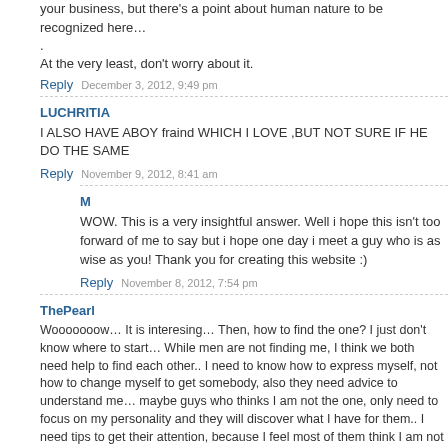your business, but there's a point about human nature to be recognized here…
.
At the very least, don't worry about it.
Reply   December 3, 2012, 9:49 pm
LUCHRITIA
I ALSO HAVE ABOY fraind WHICH I LOVE ,BUT NOT SURE IF HE DO THE SAME
Reply   November 9, 2012, 8:41 am
M
WOW. This is a very insightful answer. Well i hope this isn't too forward of me to say but i hope one day i meet a guy who is as wise as you! Thank you for creating this website :)
Reply   November 8, 2012, 7:54 pm
ThePearl
Wooooooow… It is interesing… Then, how to find the one? I just don't know where to start… While men are not finding me, I think we both need help to find each other.. I need to know how to express myself, not how to change myself to get somebody, also they need advice to understand me… maybe guys who thinks I am not the one, only need to focus on my personality and they will discover what I have for them.. I need tips to get their attention, because I feel most of them think I am not in consideration.. I am fighting being sad because I am near 30, and I fear loneliness..but I know being hopeless will let me far and far from their consideration… he is precious and needed to the extend I will not give up until I can do nothing more..or lose interest in marrage.. I still believe that there are guys who deserves me and that I deserve them too, but: how to find each other?
Reply